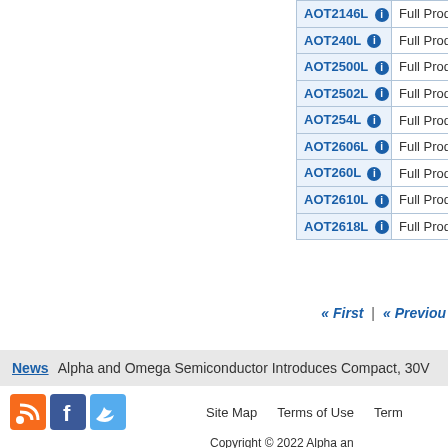| Part | Status |
| --- | --- |
| AOT2146L | Full Production |
| AOT240L | Full Production |
| AOT2500L | Full Production |
| AOT2502L | Full Production |
| AOT254L | Full Production |
| AOT2606L | Full Production |
| AOT260L | Full Production |
| AOT2610L | Full Production |
| AOT2618L | Full Production |
« First | « Previous
News  Alpha and Omega Semiconductor Introduces Compact, 30V...
Site Map   Terms of Use   Term...   Copyright © 2022 Alpha an...